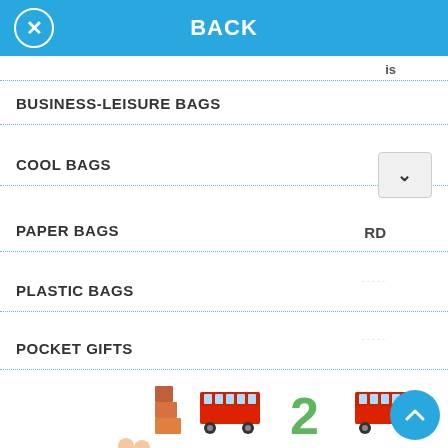BACK
BUSINESS-LEISURE BAGS
COOL BAGS
PAPER BAGS
PLASTIC BAGS
POCKET GIFTS
[Figure (illustration): Grid of illustrated British-themed number stickers showing red double-decker buses, Beefeater guards, lions, UK flags, black cabs, royal guards, and decorative numbers 2-7 in a children's book style]